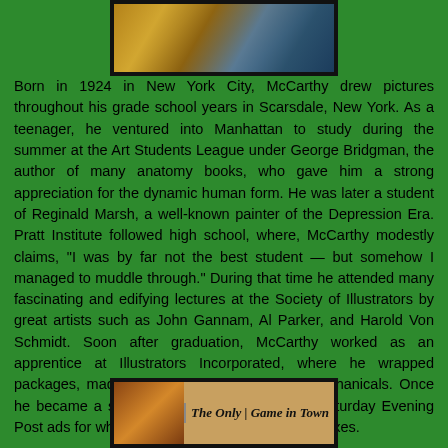[Figure (photo): Top photograph showing a person, partially visible, with warm brown tones]
Born in 1924 in New York City, McCarthy drew pictures throughout his grade school years in Scarsdale, New York. As a teenager, he ventured into Manhattan to study during the summer at the Art Students League under George Bridgman, the author of many anatomy books, who gave him a strong appreciation for the dynamic human form. He was later a student of Reginald Marsh, a well-known painter of the Depression Era. Pratt Institute followed high school, where, McCarthy modestly claims, "I was by far not the best student — but somehow I managed to muddle through." During that time he attended many fascinating and edifying lectures at the Society of Illustrators by great artists such as John Gannam, Al Parker, and Harold Von Schmidt. Soon after graduation, McCarthy worked as an apprentice at Illustrators Incorporated, where he wrapped packages, made deliveries, and assembled mechanicals. Once he became a staff artist he worked on many Saturday Evening Post ads for which he had to retouch his own veloxes.
[Figure (photo): Bottom photograph showing people with text 'The Only Game in Town']